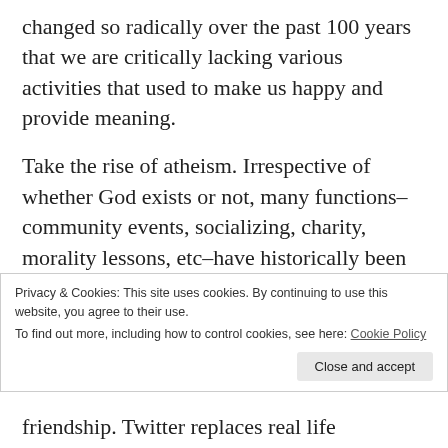changed so radically over the past 100 years that we are critically lacking various activities that used to make us happy and provide meaning.
Take the rise of atheism. Irrespective of whether God exists or not, many functions–community events, socializing, charity, morality lessons, etc–have historically been done by religious groups. Atheists are working on replacements, but developing a full system that works without the compulsion of religious
Privacy & Cookies: This site uses cookies. By continuing to use this website, you agree to their use.
To find out more, including how to control cookies, see here: Cookie Policy
friendship. Twitter replaces real life